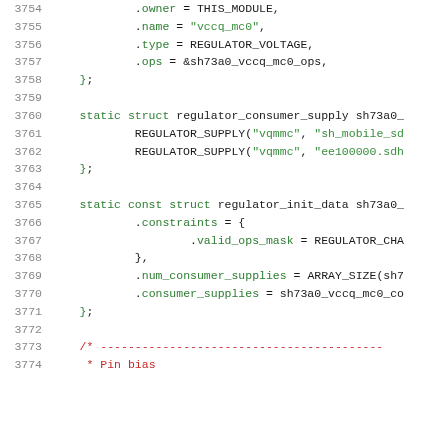[Figure (screenshot): Source code listing in C showing lines 3754-3774, featuring regulator_consumer_supply and regulator_init_data struct definitions with green keywords and string literals, and a red comment marker at the bottom.]